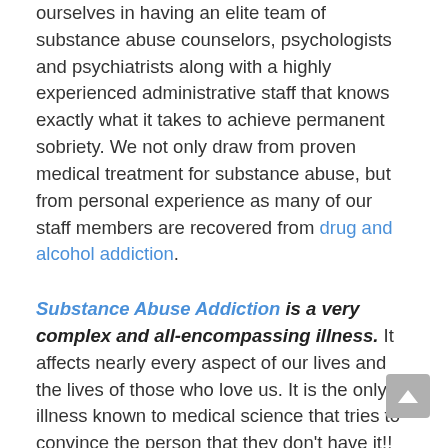ourselves in having an elite team of substance abuse counselors, psychologists and psychiatrists along with a highly experienced administrative staff that knows exactly what it takes to achieve permanent sobriety. We not only draw from proven medical treatment for substance abuse, but from personal experience as many of our staff members are recovered from drug and alcohol addiction.
Substance Abuse Addiction is a very complex and all-encompassing illness. It affects nearly every aspect of our lives and the lives of those who love us. It is the only illness known to medical science that tries to convince the person that they don't have it!! We understand why most of us come in conflicted and resistant. Our staff and addiction specialists know identification is of utmost